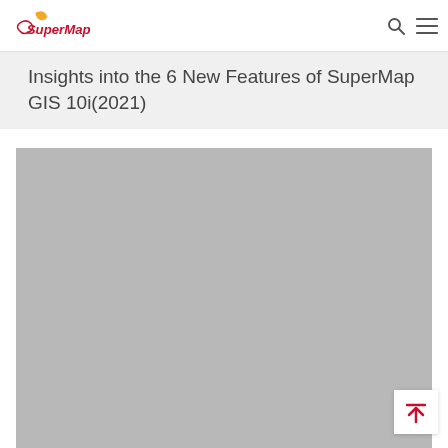SuperMap
Insights into the 6 New Features of SuperMap GIS 10i(2021)
[Figure (photo): Large gray placeholder image area below the title banner]